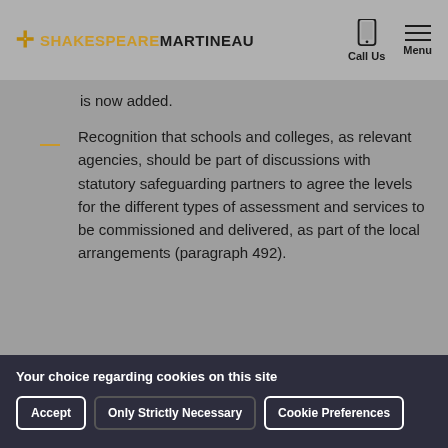Shakespeare Martineau — Call Us | Menu
is now added.
Recognition that schools and colleges, as relevant agencies, should be part of discussions with statutory safeguarding partners to agree the levels for the different types of assessment and services to be commissioned and delivered, as part of the local arrangements (paragraph 492).
Your choice regarding cookies on this site
We use cookies to optimise site functionality and give you the best possible experience.
Accept | Only Strictly Necessary | Cookie Preferences